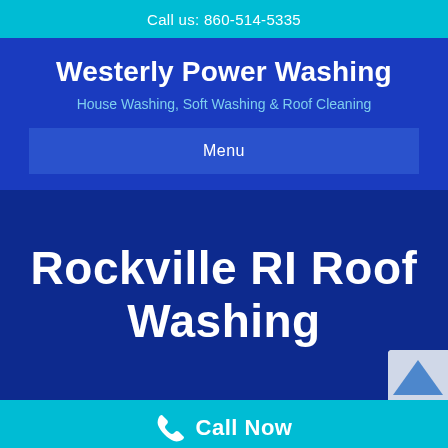Call us: 860-514-5335
Westerly Power Washing
House Washing, Soft Washing & Roof Cleaning
Menu
Rockville RI Roof Washing
Call Now